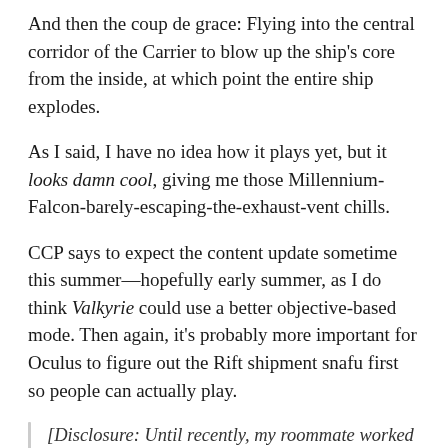And then the coup de grace: Flying into the central corridor of the Carrier to blow up the ship's core from the inside, at which point the entire ship explodes.
As I said, I have no idea how it plays yet, but it looks damn cool, giving me those Millennium-Falcon-barely-escaping-the-exhaust-vent chills.
CCP says to expect the content update sometime this summer—hopefully early summer, as I do think Valkyrie could use a better objective-based mode. Then again, it's probably more important for Oculus to figure out the Rift shipment snafu first so people can actually play.
[Disclosure: Until recently, my roommate worked at Lewis PR as part of CCP's